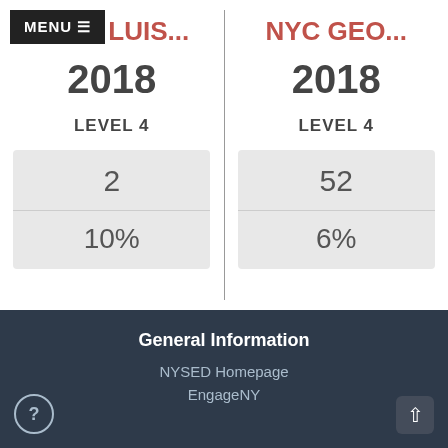B LUIS...
NYC GEO...
2018
2018
LEVEL 4
LEVEL 4
| 2 |
| 10% |
| 52 |
| 6% |
General Information
NYSED Homepage
EngageNY